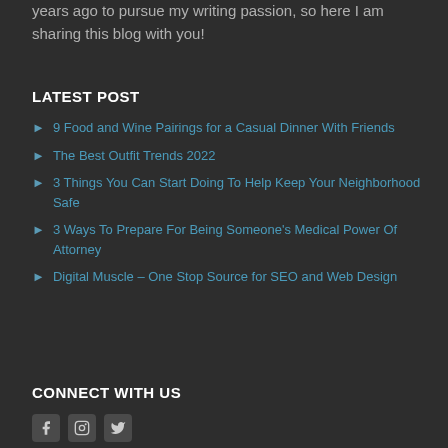years ago to pursue my writing passion, so here I am sharing this blog with you!
LATEST POST
9 Food and Wine Pairings for a Casual Dinner With Friends
The Best Outfit Trends 2022
3 Things You Can Start Doing To Help Keep Your Neighborhood Safe
3 Ways To Prepare For Being Someone's Medical Power Of Attorney
Digital Muscle – One Stop Source for SEO and Web Design
CONNECT WITH US
[Figure (other): Social media icons: Facebook, Instagram, Twitter]